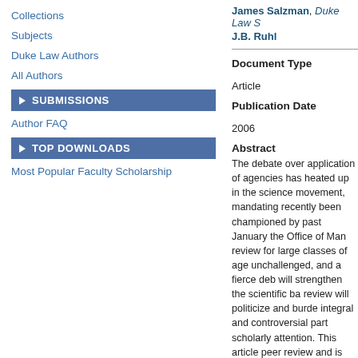Collections
Subjects
Duke Law Authors
All Authors
SUBMISSIONS
Author FAQ
TOP DOWNLOADS
Most Popular Faculty Scholarship
James Salzman, Duke Law S… J.B. Ruhl
Document Type
Article
Publication Date
2006
Abstract
The debate over application of agencies has heated up in the science movement, mandating recently been championed by past January the Office of Man review for large classes of age unchallenged, and a fierce deb will strengthen the scientific ba review will politicize and burde integral and controversial part scholarly attention. This article peer review and is supported b conducted a nationwide survey regularly practice on behalf of Most advocates of regulatory p